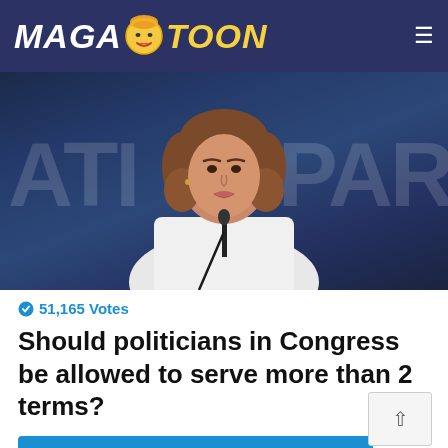MAGATOON
[Figure (photo): Woman with brown hair at a podium with microphone, wearing white jacket, against dark blue background with partial letters ATI and PAR visible]
51,165 Votes
Should politicians in Congress be allowed to serve more than 2 terms?
Yes